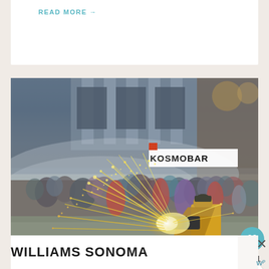READ MORE →
[Figure (photo): Outdoor festival scene at night on a city street. A person in a yellow costume shoots sparks/fireworks into a crowd. KOSMOBAR sign visible in the background. Historic building architecture behind.]
Famous Festivals in
[Figure (logo): WILLIAMS SONOMA advertisement overlay banner in white]
[Figure (other): Close X button and W superscript logo on right side]